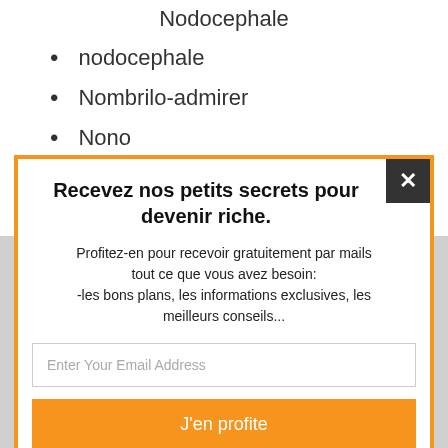nodocephale
Nombrilo-admirer
Nono
Nosi Se
Recevez nos petits secrets pour devenir riche.
Profitez-en pour recevoir gratuitement par mails tout ce que vous avez besoin:
-les bons plans, les informations exclusives, les meilleurs conseils...
Enter Your Email Address
J'en profite